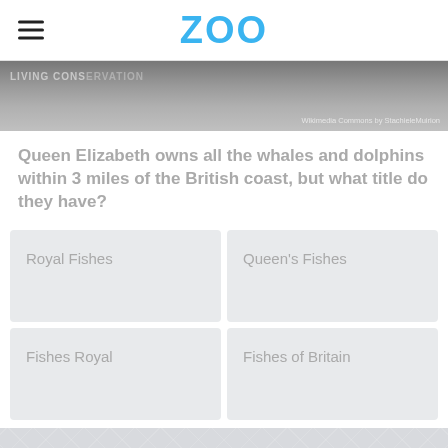ZOO
[Figure (photo): Grayscale banner photo showing a dolphin or whale exhibit with 'LIVING CONSERVATION' text overlay and a Wikimedia Commons photo credit.]
Queen Elizabeth owns all the whales and dolphins within 3 miles of the British coast, but what title do they have?
Royal Fishes
Queen's Fishes
Fishes Royal
Fishes of Britain
Advertisement